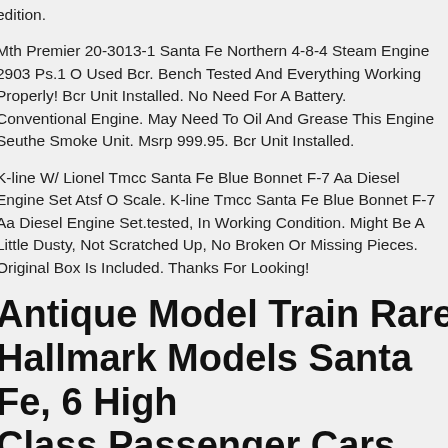edition.
Mth Premier 20-3013-1 Santa Fe Northern 4-8-4 Steam Engine 2903 Ps.1 O Used Bcr. Bench Tested And Everything Working Properly! Bcr Unit Installed. No Need For A Battery. Conventional Engine. May Need To Oil And Grease This Engine Seuthe Smoke Unit. Msrp 999.95. Bcr Unit Installed.
K-line W/ Lionel Tmcc Santa Fe Blue Bonnet F-7 Aa Diesel Engine Set Atsf O Scale. K-line Tmcc Santa Fe Blue Bonnet F-7 Aa Diesel Engine Set.tested, In Working Condition. Might Be A Little Dusty, Not Scratched Up, No Broken Or Missing Pieces. Original Box Is Included. Thanks For Looking!
Antique Model Train Rare Hallmark Models Santa Fe, 6 High Class Passenger Cars
Also, Depends On Custom In Your Country. Estimated Arrival